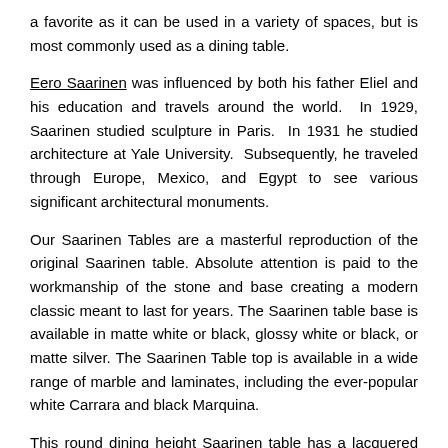a favorite as it can be used in a variety of spaces, but is most commonly used as a dining table.
Eero Saarinen was influenced by both his father Eliel and his education and travels around the world. In 1929, Saarinen studied sculpture in Paris. In 1931 he studied architecture at Yale University. Subsequently, he traveled through Europe, Mexico, and Egypt to see various significant architectural monuments.
Our Saarinen Tables are a masterful reproduction of the original Saarinen table. Absolute attention is paid to the workmanship of the stone and base creating a modern classic meant to last for years. The Saarinen table base is available in matte white or black, glossy white or black, or matte silver. The Saarinen Table top is available in a wide range of marble and laminates, including the ever-popular white Carrara and black Marquina.
This round dining height Saarinen table has a lacquered cast aluminum base in white or black and stands 28 1/4" in height. The Saarinen Tulip Table base is treated with a clear protective finish to resist scratches, stains, and scuffs. Stone tops are protected with a